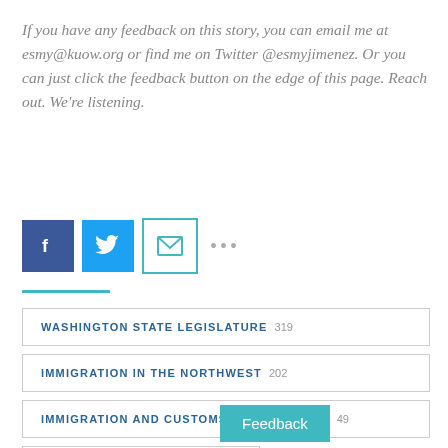If you have any feedback on this story, you can email me at esmy@kuow.org or find me on Twitter @esmyjimenez. Or you can just click the feedback button on the edge of this page. Reach out. We're listening.
[Figure (infographic): Social sharing buttons: Facebook (blue), Twitter (light blue), Email (outlined teal), and a more options (ellipsis) button]
WASHINGTON STATE LEGISLATURE 319
IMMIGRATION IN THE NORTHWEST 202
IMMIGRATION AND CUSTOMS ENFORCEMENT 49
IMMIGRATION 105
Feedback